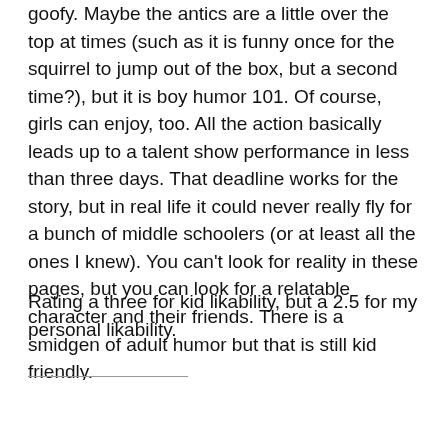goofy. Maybe the antics are a little over the top at times (such as it is funny once for the squirrel to jump out of the box, but a second time?), but it is boy humor 101. Of course, girls can enjoy, too. All the action basically leads up to a talent show performance in less than three days. That deadline works for the story, but in real life it could never really fly for a bunch of middle schoolers (or at least all the ones I knew). You can't look for reality in these pages, but you can look for a relatable character and their friends. There is a smidgen of adult humor but that is still kid friendly.
Rating a three for kid likability, but a 2.5 for my personal likability.
ar Books (Beta)